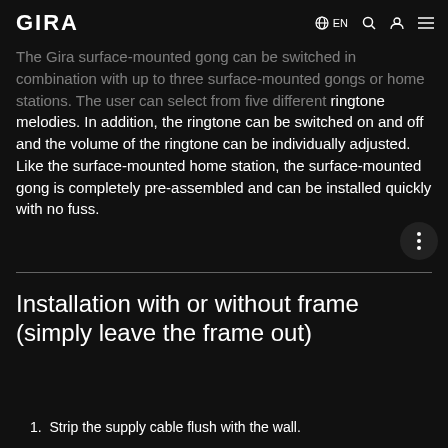GIRA  EN
The Gira surface-mounted gong can be switched in combination with up to three surface-mounted gongs or home stations. The user can select from five different ringtone melodies. In addition, the ringtone can be switched on and off and the volume of the ringtone can be individually adjusted. Like the surface-mounted home station, the surface-mounted gong is completely pre-assembled and can be installed quickly with no fuss.
Installation with or without frame (simply leave the frame out)
1. Strip the supply cable flush with the wall.